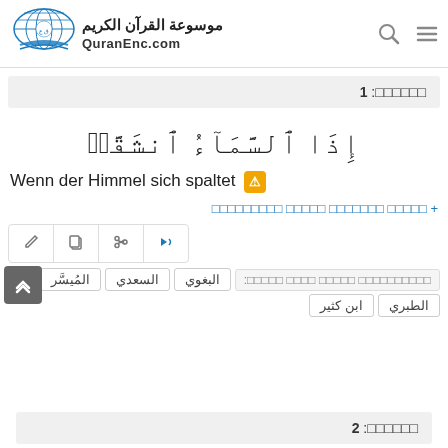QuranEnc.com - موسوعة القرآن الكريم
الآية: 1
إِذَا ٱلسَّمَآءُ ٱنشَقَّتۡ
Wenn der Himmel sich spaltet ⚠
+ اضافة تفسير للايات المختارة
البغوي السعدي المُيسَّر الطبري ابن كثير
الآية: 2